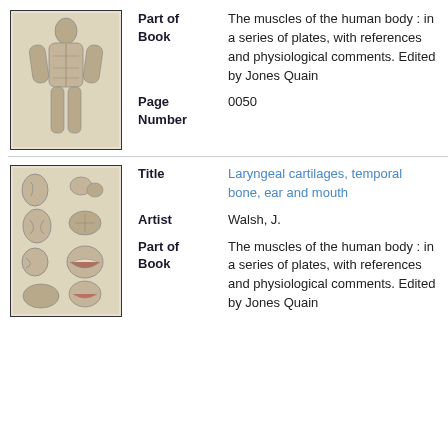[Figure (illustration): Anatomical illustration of a human figure showing muscles of the body, front view, standing pose with arms slightly out.]
Part of Book: The muscles of the human body : in a series of plates, with references and physiological comments. Edited by Jones Quain
Page Number: 0050
[Figure (illustration): Anatomical illustration showing laryngeal cartilages, temporal bone, ear and mouth structures in multiple views.]
Title: Laryngeal cartilages, temporal bone, ear and mouth
Artist: Walsh, J.
Part of Book: The muscles of the human body : in a series of plates, with references and physiological comments. Edited by Jones Quain